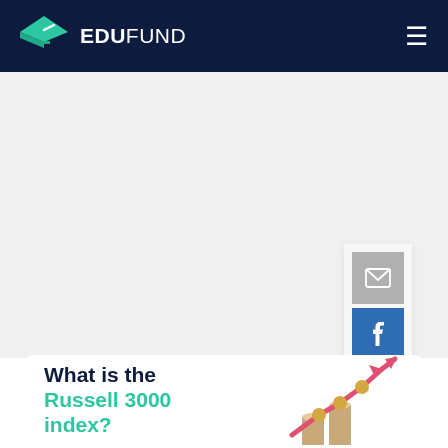EDUFUND
[Figure (screenshot): EduFund website screenshot showing navigation bar with teal logo and menu icon, social share buttons (email, Facebook, Twitter, Pinterest, Reddit), gray background area, and article card with title 'What is the Russell 3000 index?' and a 3D bar chart illustration with rising arrow]
What is the Russell 3000 index?